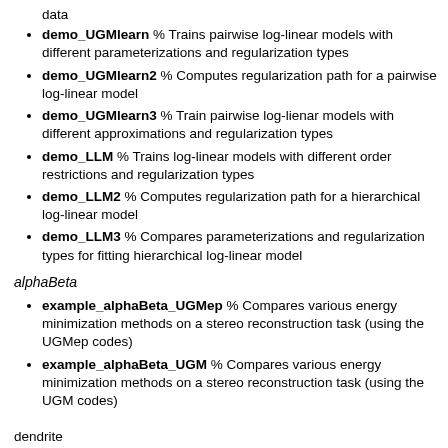data
demo_UGMlearn % Trains pairwise log-linear models with different parameterizations and regularization types
demo_UGMlearn2 % Computes regularization path for a pairwise log-linear model
demo_UGMlearn3 % Train pairwise log-lienar models with different approximations and regularization types
demo_LLM % Trains log-linear models with different order restrictions and regularization types
demo_LLM2 % Computes regularization path for a hierarchical log-linear model
demo_LLM3 % Compares parameterizations and regularization types for fitting hierarchical log-linear model
alphaBeta
example_alphaBeta_UGMep % Compares various energy minimization methods on a stereo reconstruction task (using the UGMep codes)
example_alphaBeta_UGM % Compares various energy minimization methods on a stereo reconstruction task (using the UGM codes)
dendrite